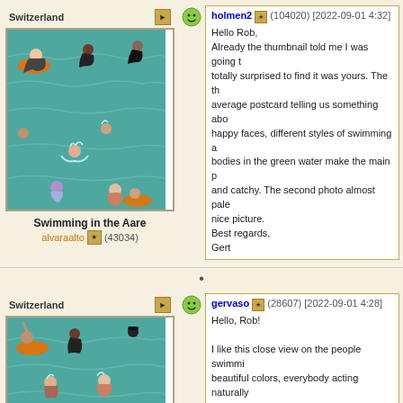Switzerland
[Figure (photo): People swimming in the Aare river, green water, multiple swimmers with colorful floats]
Swimming in the Aare
alvaraalto (43034)
holmen2 (104020) [2022-09-01 4:32] Hello Rob, Already the thumbnail told me I was going to find it was yours. The thumbnail told me so average postcard telling us something about happy faces, different styles of swimming and bodies in the green water make the main photo catchy. The second photo almost pales next to nice picture. Best regards, Gert
Switzerland
[Figure (photo): Close view of people swimming in the Aare river, green water, orange float visible]
gervaso (28607) [2022-09-01 4:28] Hello, Rob! I like this close view on the people swimming, beautiful colors, everybody acting naturally. The workshops are very nice to show us at the main photo, I wouldn't say it is a urba...